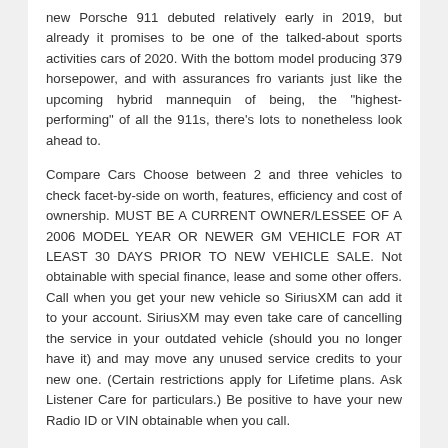new Porsche 911 debuted relatively early in 2019, but already it promises to be one of the talked-about sports activities cars of 2020. With the bottom model producing 379 horsepower, and with assurances fro variants just like the upcoming hybrid mannequin of being, the "highest-performing" of all the 911s, there's lots to nonetheless look ahead to.
Compare Cars Choose between 2 and three vehicles to check facet-by-side on worth, features, efficiency and cost of ownership. MUST BE A CURRENT OWNER/LESSEE OF A 2006 MODEL YEAR OR NEWER GM VEHICLE FOR AT LEAST 30 DAYS PRIOR TO NEW VEHICLE SALE. Not obtainable with special finance, lease and some other offers. Call when you get your new vehicle so SiriusXM can add it to your account. SiriusXM may even take care of cancelling the service in your outdated vehicle (should you no longer have it) and may move any unused service credits to your new one. (Certain restrictions apply for Lifetime plans. Ask Listener Care for particulars.) Be positive to have your new Radio ID or VIN obtainable when you call.